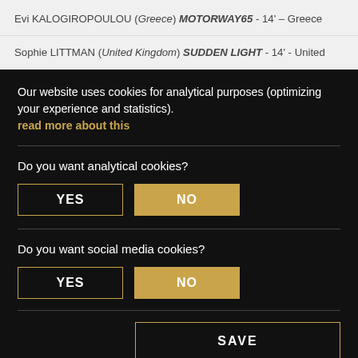Evi KALOGIROPOULOU (Greece) MOTORWAY65 - 14' – Greece
Sophie LITTMAN (United Kingdom) SUDDEN LIGHT - 14' - United
Our website uses cookies for analytical purposes (optimizing your experience and statistics). read more about this
Do you want analytical cookies?
YES
NO
Do you want social media cookies?
YES
NO
SAVE